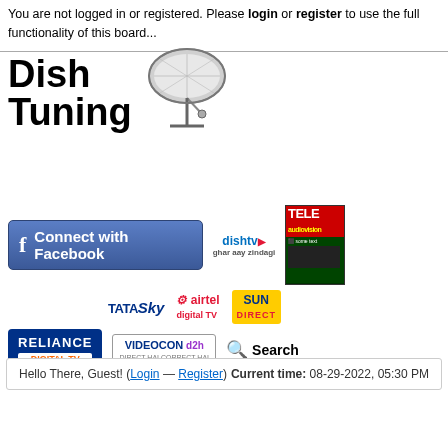You are not logged in or registered. Please login or register to use the full functionality of this board...
[Figure (logo): Dish Tuning logo with satellite dish icon]
[Figure (screenshot): Website widgets area with Facebook connect button, DTH brand logos (TATA Sky, Airtel Digital TV, Sun Direct, Reliance Digital TV, Videocon d2h, DishTV), Search button, and TELE International magazine cover]
Hello There, Guest! (Login — Register)  Current time: 08-29-2022, 05:30 PM